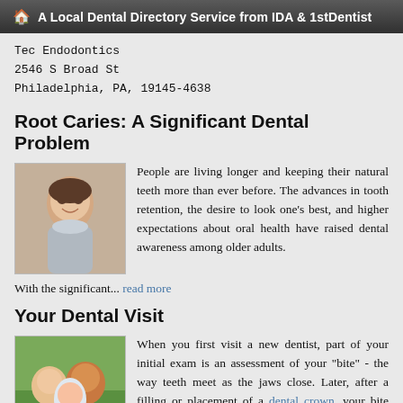🏠 A Local Dental Directory Service from IDA & 1stDentist
Tec Endodontics
2546 S Broad St
Philadelphia, PA, 19145-4638
Root Caries: A Significant Dental Problem
[Figure (photo): Portrait of a woman smiling, looking upward]
People are living longer and keeping their natural teeth more than ever before. The advances in tooth retention, the desire to look one's best, and higher expectations about oral health have raised dental awareness among older adults.
With the significant... read more
Your Dental Visit
[Figure (photo): Family photo with two adults and a baby smiling outdoors]
When you first visit a new dentist, part of your initial exam is an assessment of your "bite" - the way teeth meet as the jaws close. Later, after a filling or placement of a dental crown, your bite will be tested again to be sure the tooth